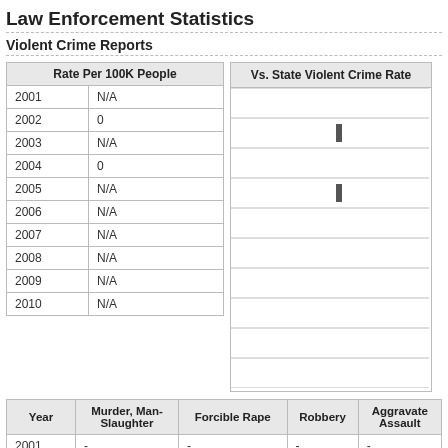Law Enforcement Statistics
Violent Crime Reports
| Rate Per 100K People |  |
| --- | --- |
| 2001 | N/A |
| 2002 | 0 |
| 2003 | N/A |
| 2004 | 0 |
| 2005 | N/A |
| 2006 | N/A |
| 2007 | N/A |
| 2008 | N/A |
| 2009 | N/A |
| 2010 | N/A |
[Figure (bar-chart): Bar chart comparing local vs state violent crime rate by year. Shows small bars for 2002 and 2004 rows, all others are empty/N/A.]
| Year | Murder, Man-Slaughter | Forcible Rape | Robbery | Aggravated Assault |
| --- | --- | --- | --- | --- |
| 2001 | - | - | - | - |
| 2002 | 0 | 0 | 0 | 0 |
| 2003 | - | - | - | - |
| 2004 | 0 | 0 | 0 | 0 |
| 2005 |  |  |  |  |